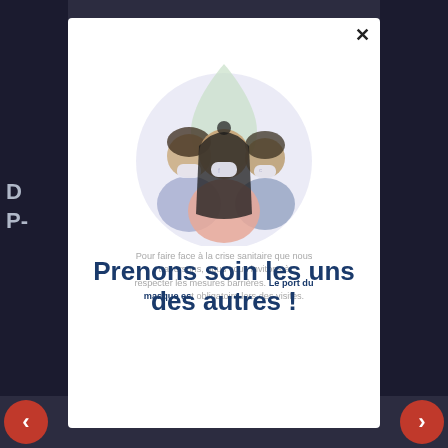[Figure (illustration): Three people wearing face masks, shown as a circular illustration with a green leaf/droplet shape in the background. The central figure is a woman in orange, flanked by two other masked individuals.]
Pour faire face à la crise sanitaire que nous traversons, nous vous invitons à respecter les mesures barrières. Le port du masque est obligatoire lors des visites.
Prenons soin les uns des autres !